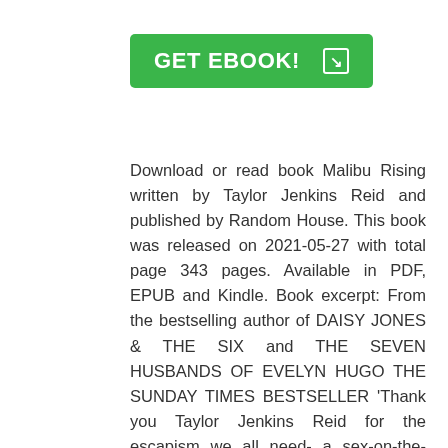[Figure (other): Green 'GET EBOOK!' button with arrow icon]
Download or read book Malibu Rising written by Taylor Jenkins Reid and published by Random House. This book was released on 2021-05-27 with total page 343 pages. Available in PDF, EPUB and Kindle. Book excerpt: From the bestselling author of DAISY JONES & THE SIX and THE SEVEN HUSBANDS OF EVELYN HUGO THE SUNDAY TIMES BESTSELLER 'Thank you Taylor Jenkins Reid for the escapism we all need- a sex-on-the-beach cocktail (quite literally) of a book' PANDORA SYKES 'I LOVE it . . . I can't remember the last time I read a book that was so fun' DOLLY ALDERTON 'It's 365 pages of pure exhilaration' THE TIMES August 1983, it is the day of Nina Riva's